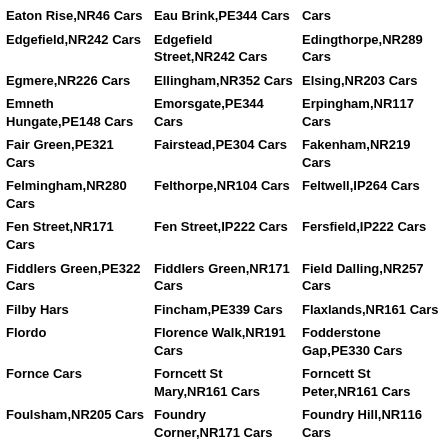Eaton Rise,NR46 Cars
Eau Brink,PE344 Cars
Ediss on,NR334,NR... Cars
Edgefield,NR242 Cars
Edgefield Street,NR242 Cars
Edingthorpe,NR289 Cars
Egmere,NR226 Cars
Ellingham,NR352 Cars
Elsing,NR203 Cars
Emneth Hungate,PE148 Cars
Emorsgate,PE344 Cars
Erpingham,NR117 Cars
Fair Green,PE321 Cars
Fairstead,PE304 Cars
Fakenham,NR219 Cars
Felmingham,NR280 Cars
Felthorpe,NR104 Cars
Feltwell,IP264 Cars
Fen Street,NR171 Cars
Fen Street,IP222 Cars
Fersfield,IP222 Cars
Fiddlers Green,PE322 Cars
Fiddlers Green,NR171 Cars
Field Dalling,NR257 Cars
Filby H... Cars
Fincham,PE339 Cars
Flaxlands,NR161 Cars
Flordo...
Florence Walk,NR191 Cars
Fodderstone Gap,PE330 Cars
Fornce... Cars
Forncett St Mary,NR161 Cars
Forncett St Peter,NR161 Cars
Foulsham,NR205 Cars
Foundry Corner,NR171 Cars
Foundry Hill,NR116 Cars
Foxley,NR294 Cars
Framingham Earl,NR147 Cars
Framingham...